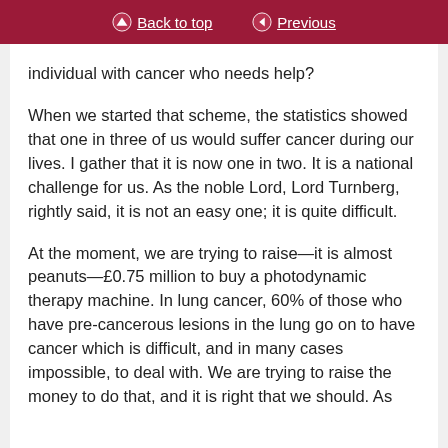Back to top | Previous
individual with cancer who needs help?
When we started that scheme, the statistics showed that one in three of us would suffer cancer during our lives. I gather that it is now one in two. It is a national challenge for us. As the noble Lord, Lord Turnberg, rightly said, it is not an easy one; it is quite difficult.
At the moment, we are trying to raise—it is almost peanuts—£0.75 million to buy a photodynamic therapy machine. In lung cancer, 60% of those who have pre-cancerous lesions in the lung go on to have cancer which is difficult, and in many cases impossible, to deal with. We are trying to raise the money to do that, and it is right that we should. As